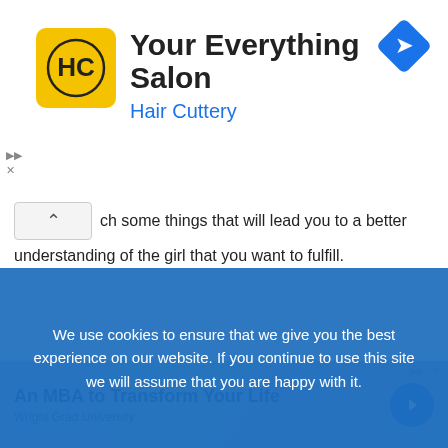[Figure (infographic): Hair Cuttery advertisement banner with yellow logo showing HC initials and navigation diamond icon. Title: Your Everything Salon. Subtitle: Hair Cuttery]
ch some things that will lead you to a better understanding of the girl that you want to fulfill.
[Figure (photo): Photo of an older woman with short grey hair in a white blazer smiling and talking with two students in a classroom or office setting with plants in background. Second advertisement overlay with MBA promotion: An MBA to Transform Your Life, Wright Grad University.]
We use cookies to ensure that we give you the best experience on our website. If you continue to use this site we will assume that you are happy with it.